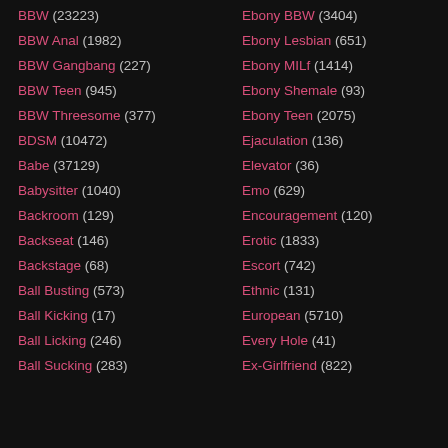BBW (23223)
BBW Anal (1982)
BBW Gangbang (227)
BBW Teen (945)
BBW Threesome (377)
BDSM (10472)
Babe (37129)
Babysitter (1040)
Backroom (129)
Backseat (146)
Backstage (68)
Ball Busting (573)
Ball Kicking (17)
Ball Licking (246)
Ball Sucking (283)
Ebony BBW (3404)
Ebony Lesbian (651)
Ebony MILf (1414)
Ebony Shemale (93)
Ebony Teen (2075)
Ejaculation (136)
Elevator (36)
Emo (629)
Encouragement (120)
Erotic (1833)
Escort (742)
Ethnic (131)
European (5710)
Every Hole (41)
Ex-Girlfriend (822)